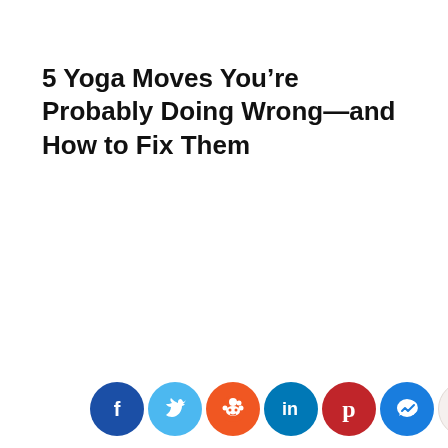5 Yoga Moves You’re Probably Doing Wrong—and How to Fix Them
[Figure (infographic): Social sharing bar with icons: Facebook, Twitter, Reddit, LinkedIn, Pinterest, Messenger, Gmail, and a scroll-to-top button]